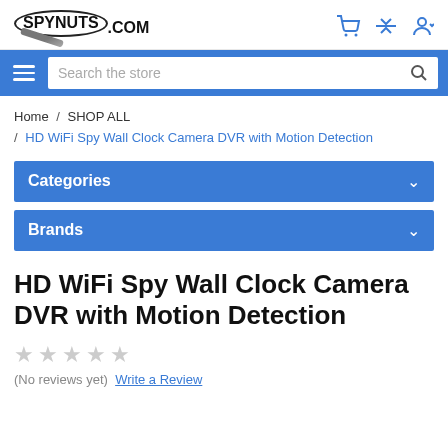SPYNUTS.COM
Search the store
Home / SHOP ALL / HD WiFi Spy Wall Clock Camera DVR with Motion Detection
Categories
Brands
HD WiFi Spy Wall Clock Camera DVR with Motion Detection
★★★★★ (No reviews yet)
Write a Review